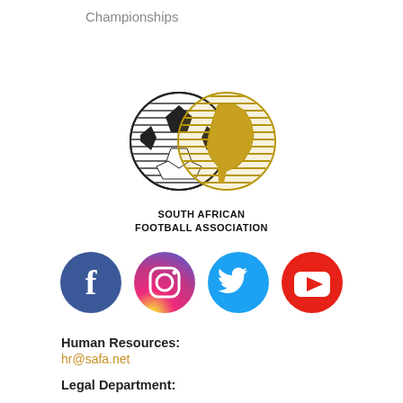Championships
[Figure (logo): South African Football Association logo with a soccer ball and globe icon side by side, with text SOUTH AFRICAN FOOTBALL ASSOCIATION below]
[Figure (infographic): Four social media icons in circles: Facebook (blue), Instagram (gradient pink/orange), Twitter (light blue), YouTube (red)]
Human Resources: hr@safa.net
Legal Department: